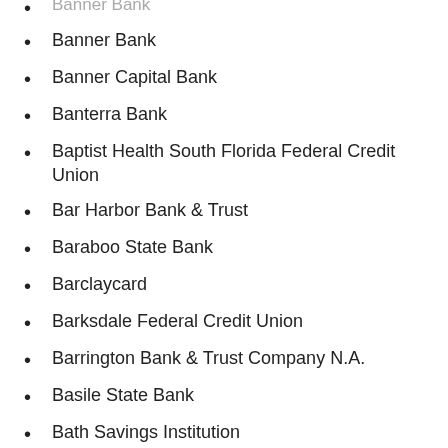Banner Bank
Banner Capital Bank
Banterra Bank
Baptist Health South Florida Federal Credit Union
Bar Harbor Bank & Trust
Baraboo State Bank
Barclaycard
Barksdale Federal Credit Union
Barrington Bank & Trust Company N.A.
Basile State Bank
Bath Savings Institution
Baton Rouge Telco Federal Credit Union
Baxter Credit Union